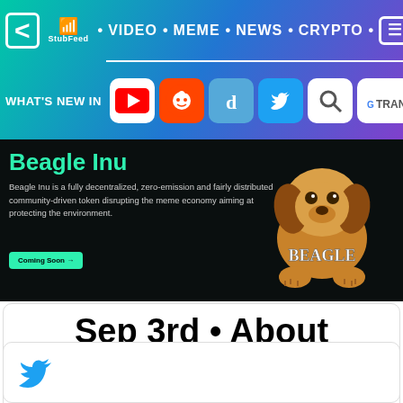< StubFeed • VIDEO • MEME • NEWS • CRYPTO • ≡
WHAT'S NEW IN
[Figure (screenshot): Social media icons row: YouTube, Reddit, Digg, Twitter, Search, Google Translate]
[Figure (screenshot): Beagle Inu website screenshot showing dark background with Beagle Inu heading, description text, Coming Soon button, and Beagle dog mascot logo]
Beagle Inu is a fully decentralized, zero-emission and fairly distributed community-driven token disrupting the meme economy aiming at protecting the environment
Sep 3rd • About BeagleInu BeagleInu is a
[Figure (logo): Twitter bird logo in blue]